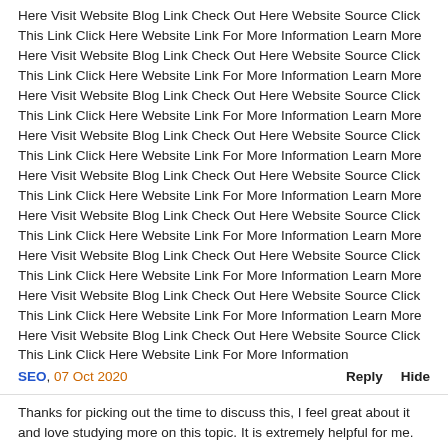Here Visit Website Blog Link Check Out Here Website Source Click This Link Click Here Website Link For More Information Learn More Here Visit Website Blog Link Check Out Here Website Source Click This Link Click Here Website Link For More Information Learn More Here Visit Website Blog Link Check Out Here Website Source Click This Link Click Here Website Link For More Information Learn More Here Visit Website Blog Link Check Out Here Website Source Click This Link Click Here Website Link For More Information Learn More Here Visit Website Blog Link Check Out Here Website Source Click This Link Click Here Website Link For More Information Learn More Here Visit Website Blog Link Check Out Here Website Source Click This Link Click Here Website Link For More Information Learn More Here Visit Website Blog Link Check Out Here Website Source Click This Link Click Here Website Link For More Information Learn More Here Visit Website Blog Link Check Out Here Website Source Click This Link Click Here Website Link For More Information Learn More Here Visit Website Blog Link Check Out Here Website Source Click This Link Click Here Website Link For More Information
SEO, 07 Oct 2020   Reply   Hide
Thanks for picking out the time to discuss this, I feel great about it and love studying more on this topic. It is extremely helpful for me. Thanks for such a valuable help again. Click Here Website Link For More Information Learn More Here Visit Website Blog Link Check Out Here Website Source Click This Link Click Here